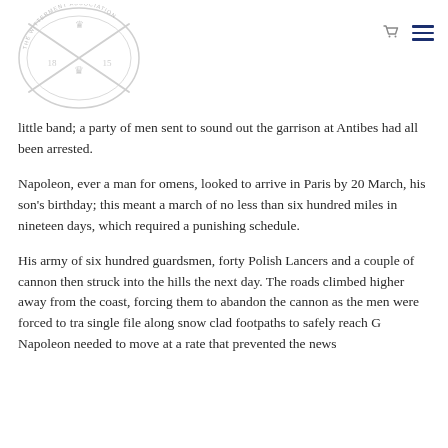[Figure (logo): Circular emblem/logo of The Witterment Association with crossed rifles, a crown, the years 1815 displayed, rendered in light gray/white watermark style]
little band; a party of men sent to sound out the garrison at Antibes had all been arrested.
Napoleon, ever a man for omens, looked to arrive in Paris by 20 March, his son's birthday; this meant a march of no less than six hundred miles in nineteen days, which required a punishing schedule.
His army of six hundred guardsmen, forty Polish Lancers and a couple of cannon then struck into the hills the next day. The roads climbed higher away from the coast, forcing them to abandon the cannon as the men were forced to tra single file along snow clad footpaths to safely reach G Napoleon needed to move at a rate that prevented the news